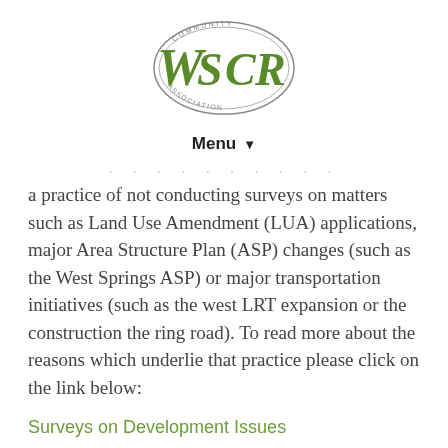[Figure (logo): WSCR Community Association logo — oval shape with 'WSCR' in large green letters and 'COMMUNITY ASSOCIATION' text around the ellipse border]
Menu ▼
a practice of not conducting surveys on matters such as Land Use Amendment (LUA) applications, major Area Structure Plan (ASP) changes (such as the West Springs ASP) or major transportation initiatives (such as the west LRT expansion or the construction the ring road). To read more about the reasons which underlie that practice please click on the link below:
Surveys on Development Issues